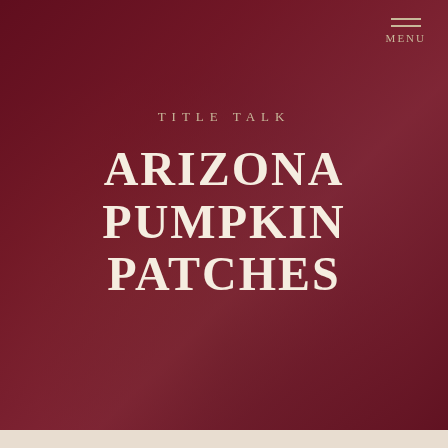[Figure (photo): Dark red-tinted background photo of a person working at a desk with a notebook and laptop, heavily overlaid with a deep crimson/maroon color wash]
MENU
TITLE TALK
ARIZONA PUMPKIN PATCHES